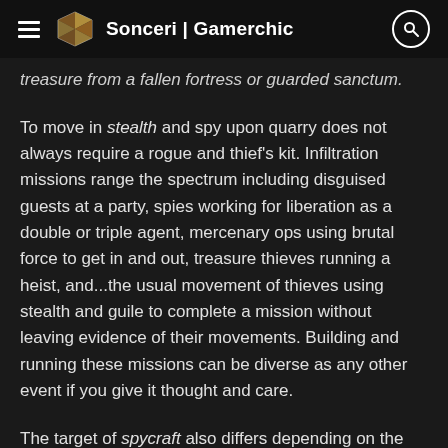Sonceri | Gamerchic
treasure from a fallen fortress or guarded sanctum.
To move in stealth and spy upon quarry does not always require a rogue and thief's kit. Infiltration missions range the spectrum including disguised guests at a party, spies working for liberation as a double or triple agent, mercenary ops using brutal force to get in and out, treasure thieves running a heist, and...the usual movement of thieves using stealth and guile to complete a mission without leaving evidence of their movements. Building and running these missions can be diverse as any other event if you give it thought and care.
The target of spycraft also differs depending on the goals of a campaign. From eliminating targets to collecting information and loot, a single agent or group of allies can